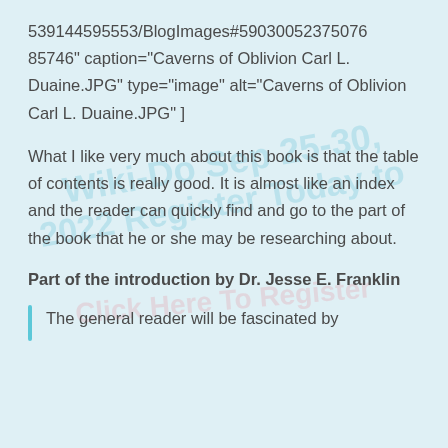539144595553/BlogImages#59030052375076 85746" caption="Caverns of Oblivion Carl L. Duaine.JPG" type="image" alt="Caverns of Oblivion Carl L. Duaine.JPG" ]
What I like very much about this book is that the table of contents is really good. It is almost like an index and the reader can quickly find and go to the part of the book that he or she may be researching about.
Part of the introduction by Dr. Jesse E. Franklin
The general reader will be fascinated by